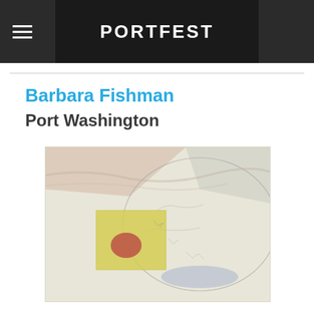PORTFEST
Barbara Fishman
Port Washington
[Figure (illustration): Abstract painting with soft pastel tones. Features a yellow rectangular form on the left center with a red/pink shape inside it, surrounded by a circular arc of gray-blue marks. The background is muted cream and gray with gestural strokes.]